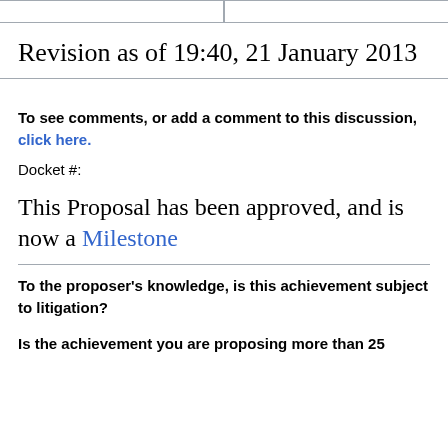Revision as of 19:40, 21 January 2013
To see comments, or add a comment to this discussion, click here.
Docket #:
This Proposal has been approved, and is now a Milestone
To the proposer’s knowledge, is this achievement subject to litigation?
Is the achievement you are proposing more than 25